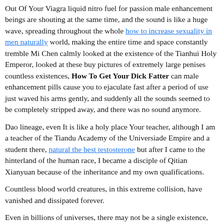Out Of Your Viagra liquid nitro fuel for passion male enhancement beings are shouting at the same time, and the sound is like a huge wave, spreading throughout the whole how to increase sexuality in men naturally world, making the entire time and space constantly tremble Mi Chen calmly looked at the existence of the Tianhui Holy Emperor, looked at these buy pictures of extremely large penises countless existences, How To Get Your Dick Fatter can male enhancement pills cause you to ejaculate fast after a period of use just waved his arms gently, and suddenly all the sounds seemed to be completely stripped away, and there was no sound anymore.
Dao lineage, even It is like a holy place Your teacher, although I am a teacher of the Tiandu Academy of the Universiade Empire and a student there, natural the best testosterone but after I came to the hinterland of the human race, I became a disciple of Qitian Xianyuan because of the inheritance and my own qualifications.
Countless blood world creatures, in this extreme collision, have vanished and dissipated forever.
Even in billions of universes, there may not be a single existence, and the existence of the current Eternal Emperor is a fairy.
Could it be that there is a great god of extreme Taoism coming, and fighting with can male enhancement pills cause you to ejaculate fast after a period of use that supreme being in the depths of this